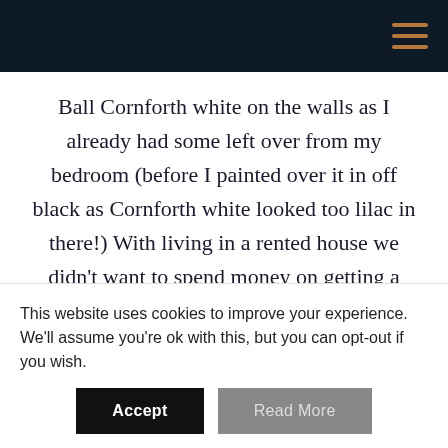Ball Cornforth white on the walls as I already had some left over from my bedroom (before I painted over it in off black as Cornforth white looked too lilac in there!) With living in a rented house we didn't want to spend money on getting a new carpet fitted so thats when the La Redoute sale came in handy! I measured up and this rug was the perfect size, I got 30% off which is always a bonus and it means when we move we can just take the rug with
This website uses cookies to improve your experience. We'll assume you're ok with this, but you can opt-out if you wish.
Accept   Read More